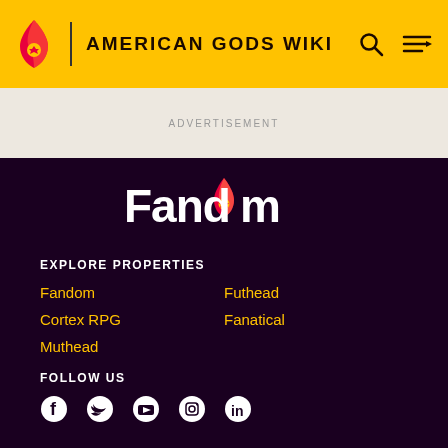AMERICAN GODS WIKI
ADVERTISEMENT
[Figure (logo): Fandom logo with flame icon and heart, white text on dark purple background]
EXPLORE PROPERTIES
Fandom
Futhead
Cortex RPG
Fanatical
Muthead
FOLLOW US
[Figure (infographic): Social media icons: Facebook, Twitter, YouTube, Instagram, LinkedIn]